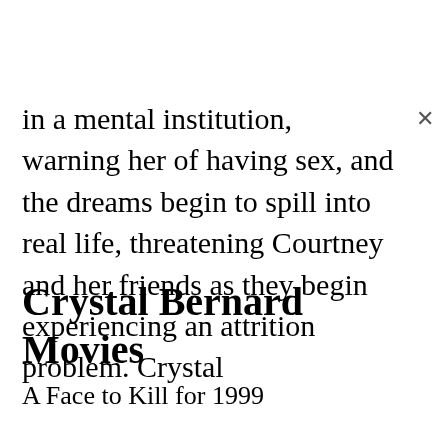in a mental institution, warning her of having sex, and the dreams begin to spill into real life, threatening Courtney and her friends as they begin experiencing an attrition problem. Crystal
Crystal Bernard Movies
A Face to Kill for 1999